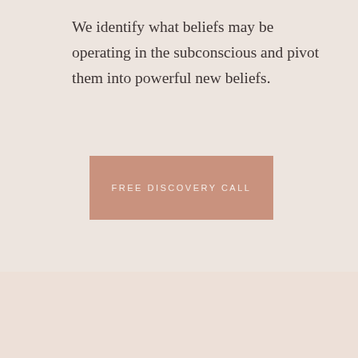We identify what beliefs may be operating in the subconscious and pivot them into powerful new beliefs.
FREE DISCOVERY CALL